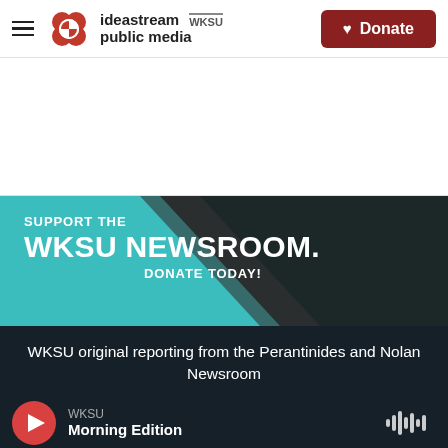ideastream public media WKSU | Donate
[Figure (infographic): WKSU Newsroom donation banner: teal background with diagonal dark stripe, text 'SUPPORT THE WKSU NEWSROOM. DONATE TODAY!']
WKSU original reporting from the Perantinides and Nolan Newsroom
WKSU Morning Edition